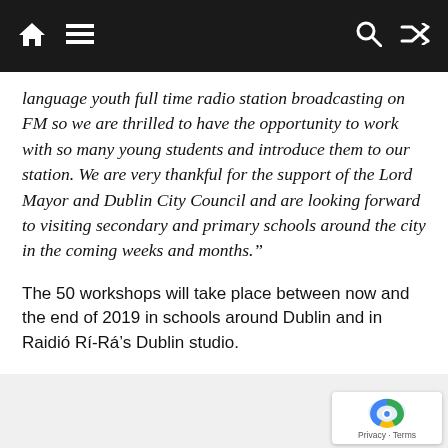[Navigation bar with home, menu, search, and shuffle icons]
language youth full time radio station broadcasting on FM so we are thrilled to have the opportunity to work with so many young students and introduce them to our station. We are very thankful for the support of the Lord Mayor and Dublin City Council and are looking forward to visiting secondary and primary schools around the city in the coming weeks and months.”
The 50 workshops will take place between now and the end of 2019 in schools around Dublin and in Raidió Rí-Rá’s Dublin studio.